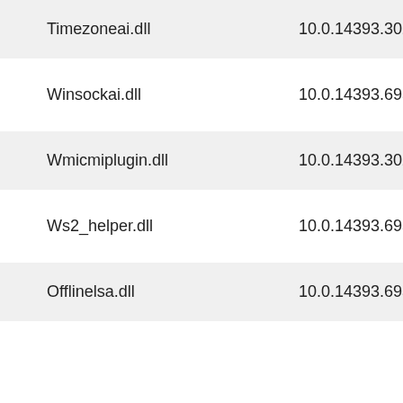| Timezoneai.dll | 10.0.14393.3022 | 70,392 |
| Winsockai.dll | 10.0.14393.693 | 82,272 |
| Wmicmiplugin.dll | 10.0.14393.3022 | 394,704 |
| Ws2_helper.dll | 10.0.14393.693 | 94,560 |
| Offlinelsa.dll | 10.0.14393.693 | 123,232 |